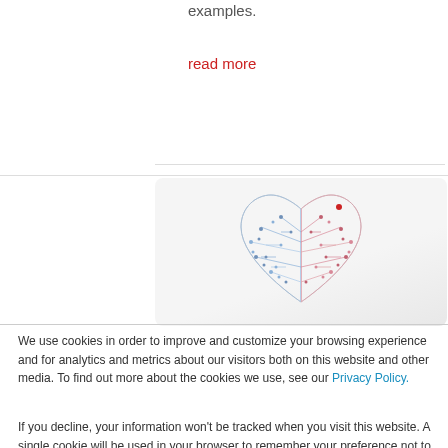examples.
read more
[Figure (illustration): A heart shape made of circuit board traces and dots, colored in blue on the left and red/pink on the right, representing digital/AI healthcare or technology.]
We use cookies in order to improve and customize your browsing experience and for analytics and metrics about our visitors both on this website and other media. To find out more about the cookies we use, see our Privacy Policy.
If you decline, your information won't be tracked when you visit this website. A single cookie will be used in your browser to remember your preference not to be tracked.
Accept
Decline